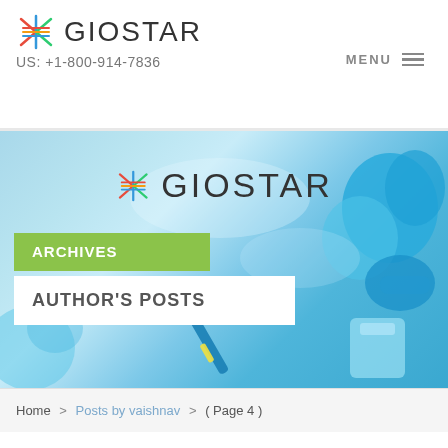GIOSTAR
US: +1-800-914-7836
MENU
[Figure (photo): Laboratory background image with blue scientific glassware and medical equipment, with GIOSTAR logo overlay, ARCHIVES label in green box, and AUTHOR'S POSTS label in white box]
Home > Posts by vaishnav > ( Page 4 )